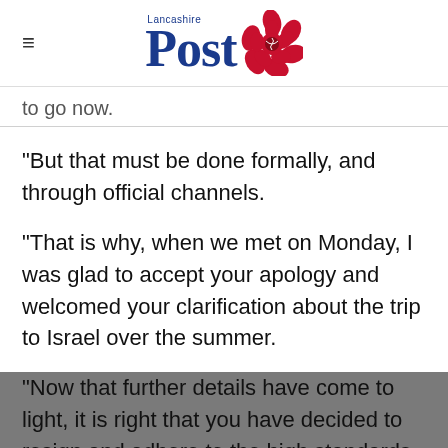Lancashire Post
to go now.
"But that must be done formally, and through official channels.
"That is why, when we met on Monday, I was glad to accept your apology and welcomed your clarification about the trip to Israel over the summer.
"Now that further details have come to light, it is right that you have decided to resign and adhere to the high standards of transparency